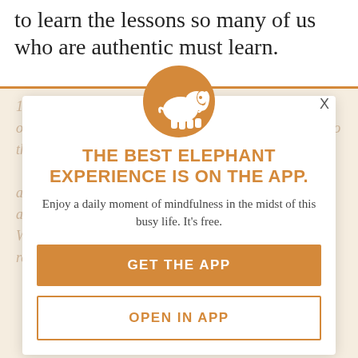to learn the lessons so many of us who are authentic must learn.
[Figure (logo): Orange circle with white elephant silhouette logo]
THE BEST ELEPHANT EXPERIENCE IS ON THE APP.
Enjoy a daily moment of mindfulness in the midst of this busy life. It's free.
GET THE APP
OPEN IN APP